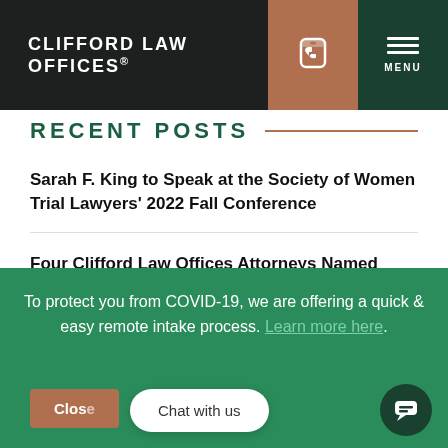CLIFFORD LAW OFFICES®
RECENT POSTS
Sarah F. King to Speak at the Society of Women Trial Lawyers' 2022 Fall Conference
Four Clifford Law Offices Attorneys Named 2023 Best Lawyers® "Lawyer of the Year"
To protect you from COVID-19, we are offering a quick & easy remote intake process. Learn more here.
Chat with us